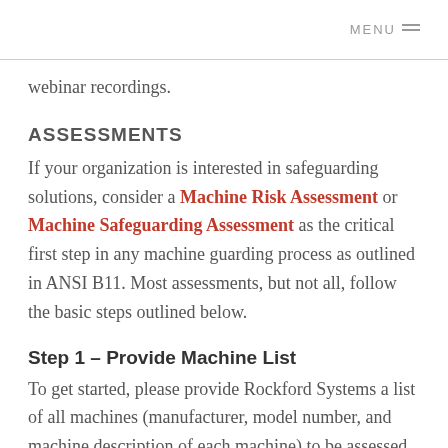MENU
webinar recordings.
ASSESSMENTS
If your organization is interested in safeguarding solutions, consider a Machine Risk Assessment or Machine Safeguarding Assessment as the critical first step in any machine guarding process as outlined in ANSI B11. Most assessments, but not all, follow the basic steps outlined below.
Step 1 – Provide Machine List
To get started, please provide Rockford Systems a list of all machines (manufacturer, model number, and machine description of each machine) to be assessed